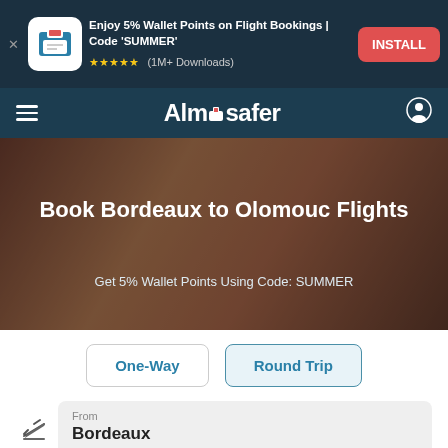[Figure (screenshot): App advertisement banner with dark teal background showing Almosafer app icon, text 'Enjoy 5% Wallet Points on Flight Bookings | Code SUMMER', star rating with (1M+ Downloads), and red INSTALL button]
Almosafer
[Figure (photo): Hero banner with brownish-orange bokeh background photo]
Book Bordeaux to Olomouc Flights
Get 5% Wallet Points Using Code: SUMMER
One-Way
Round Trip
From
Bordeaux